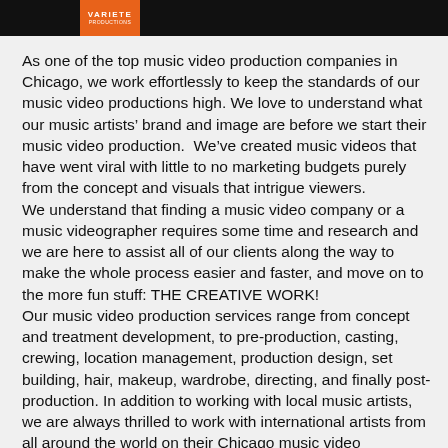VARIETE
As one of the top music video production companies in Chicago, we work effortlessly to keep the standards of our music video productions high. We love to understand what our music artists’ brand and image are before we start their music video production.  We’ve created music videos that have went viral with little to no marketing budgets purely from the concept and visuals that intrigue viewers. We understand that finding a music video company or a music videographer requires some time and research and we are here to assist all of our clients along the way to make the whole process easier and faster, and move on to the more fun stuff: THE CREATIVE WORK! Our music video production services range from concept and treatment development, to pre-production, casting, crewing, location management, production design, set building, hair, makeup, wardrobe, directing, and finally post-production. In addition to working with local music artists, we are always thrilled to work with international artists from all around the world on their Chicago music video